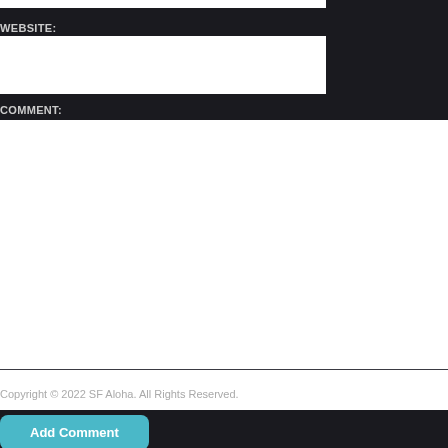WEBSITE:
COMMENT:
Add Comment
Copyright © 2022 SF Aloha. All Rights Reserved.